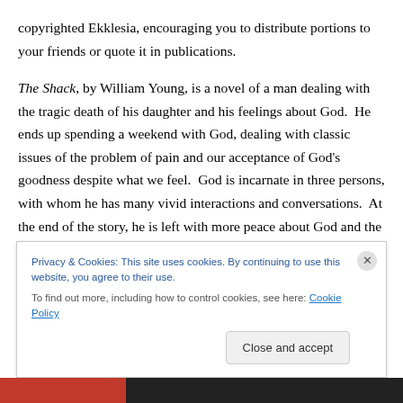copyrighted Ekklesia, encouraging you to distribute portions to your friends or quote it in publications.

The Shack, by William Young, is a novel of a man dealing with the tragic death of his daughter and his feelings about God.  He ends up spending a weekend with God, dealing with classic issues of the problem of pain and our acceptance of God's goodness despite what we feel.  God is incarnate in three persons, with whom he has many vivid interactions and conversations.  At the end of the story, he is left with more peace about God and the life he
Privacy & Cookies: This site uses cookies. By continuing to use this website, you agree to their use.
To find out more, including how to control cookies, see here: Cookie Policy
Close and accept